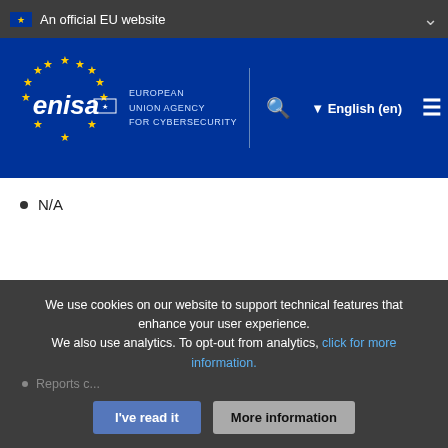An official EU website
[Figure (logo): ENISA – European Union Agency for Cybersecurity logo with EU flag stars on blue background, navigation bar with search, language selector (English en), and hamburger menu]
N/A
Interoperability with other tools
We use cookies on our website to support technical features that enhance your user experience. We also use analytics. To opt-out from analytics, click for more information.
Reports c...
I've read it   More information